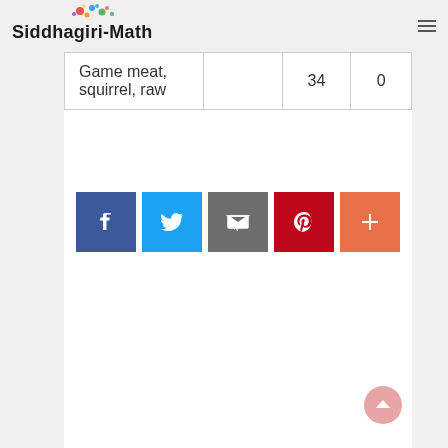Siddhagiri-Math
| Game meat, squirrel, raw |  | 34 | 0 |
[Figure (other): Social share buttons: Facebook, Twitter, Email, Pinterest, More (+)]